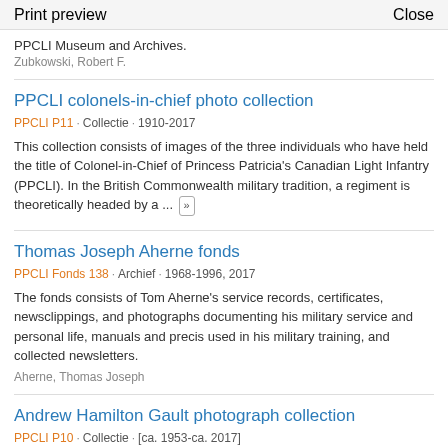Print preview   Close
PPCLI Museum and Archives.
Zubkowski, Robert F.
PPCLI colonels-in-chief photo collection
PPCLI P11 · Collectie · 1910-2017
This collection consists of images of the three individuals who have held the title of Colonel-in-Chief of Princess Patricia's Canadian Light Infantry (PPCLI). In the British Commonwealth military tradition, a regiment is theoretically headed by a ... »
Thomas Joseph Aherne fonds
PPCLI Fonds 138 · Archief · 1968-1996, 2017
The fonds consists of Tom Aherne's service records, certificates, newsclippings, and photographs documenting his military service and personal life, manuals and precis used in his military training, and collected newsletters.
Aherne, Thomas Joseph
Andrew Hamilton Gault photograph collection
PPCLI P10 · Collectie · [ca. 1953-ca. 2017]
The collection consists of photographs of Andrew Hamilton Gault, the